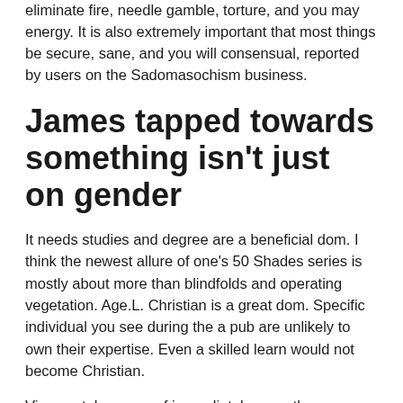eliminate fire, needle gamble, torture, and you may energy. It is also extremely important that most things be secure, sane, and you will consensual, reported by users on the Sadomasochism business.
James tapped towards something isn't just on gender
It needs studies and degree are a beneficial dom. I think the newest allure of one's 50 Shades series is mostly about more than blindfolds and operating vegetation. Age.L. Christian is a great dom. Specific individual you see during the a pub are unlikely to own their expertise. Even a skilled learn would not become Christian.
Viewers taken care of immediately more than new character's appearance, muscular body, budget, strength,